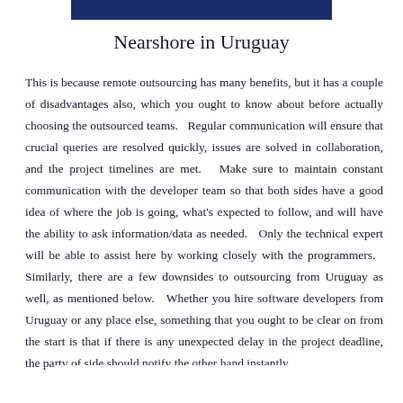[Figure (other): Dark blue horizontal bar decorative element at the top center of the page]
Nearshore in Uruguay
This is because remote outsourcing has many benefits, but it has a couple of disadvantages also, which you ought to know about before actually choosing the outsourced teams.   Regular communication will ensure that crucial queries are resolved quickly, issues are solved in collaboration, and the project timelines are met.   Make sure to maintain constant communication with the developer team so that both sides have a good idea of where the job is going, what's expected to follow, and will have the ability to ask information/data as needed.   Only the technical expert will be able to assist here by working closely with the programmers.   Similarly, there are a few downsides to outsourcing from Uruguay as well, as mentioned below.   Whether you hire software developers from Uruguay or any place else, something that you ought to be clear on from the start is that if there is any unexpected delay in the project deadline, the party of side should notify the other hand instantly.